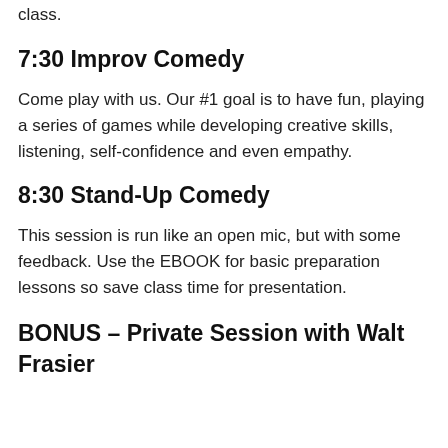class.
7:30 Improv Comedy
Come play with us. Our #1 goal is to have fun, playing a series of games while developing creative skills, listening, self-confidence and even empathy.
8:30 Stand-Up Comedy
This session is run like an open mic, but with some feedback. Use the EBOOK for basic preparation lessons so save class time for presentation.
BONUS – Private Session with Walt Frasier